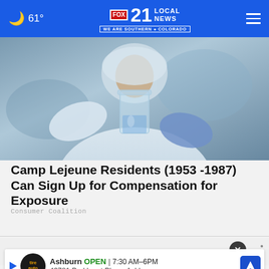61° FOX 21 LOCAL NEWS WE ARE SOUTHERN COLORADO
[Figure (photo): Person in white hazmat suit and blue gloves holding a clear beaker with liquid, laboratory setting]
Camp Lejeune Residents (1953 -1987) Can Sign Up for Compensation for Exposure
Consumer Coalition
WHAT DO YOU THINK?
To wh for re s
[Figure (screenshot): Ad overlay: Ashburn OPEN 7:30 AM-6PM, 43781 Parkhurst Plaza, Ashburn, Firestone Auto Care logo]